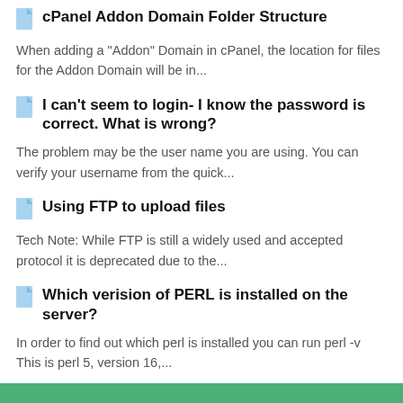cPanel Addon Domain Folder Structure
When adding a "Addon" Domain in cPanel, the location for files for the Addon Domain will be in...
I can't seem to login- I know the password is correct. What is wrong?
The problem may be the user name you are using.  You can verify your username from the quick...
Using FTP to upload files
Tech Note: While FTP is still a widely used and accepted protocol it is deprecated due to the...
Which verision of PERL is installed on the server?
In order to find out which perl is installed you can run perl -v This is perl 5, version 16,...